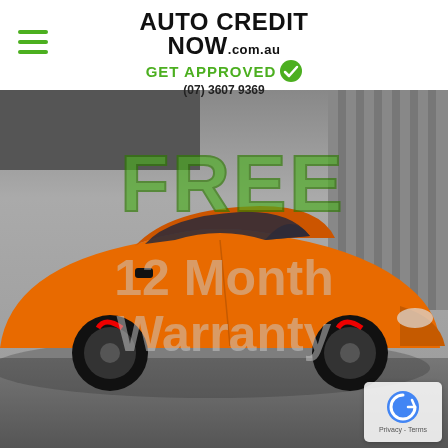[Figure (logo): Auto Credit Now .com.au logo with GET APPROVED text, green checkmark, and phone number (07) 3607 9369]
[Figure (photo): Orange sports car (Toyota 86) driving fast with blurred background. Overlaid text reads FREE 12 Month Warranty in large bold green and grey letters. A reCAPTCHA privacy badge is in the bottom right corner.]